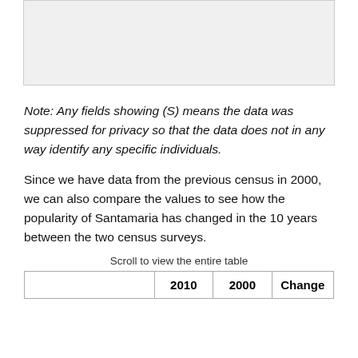[Figure (other): Gray image area at top of page (partial image/chart from previous content)]
Note: Any fields showing (S) means the data was suppressed for privacy so that the data does not in any way identify any specific individuals.
Since we have data from the previous census in 2000, we can also compare the values to see how the popularity of Santamaria has changed in the 10 years between the two census surveys.
Scroll to view the entire table
|  | 2010 | 2000 | Change |
| --- | --- | --- | --- |